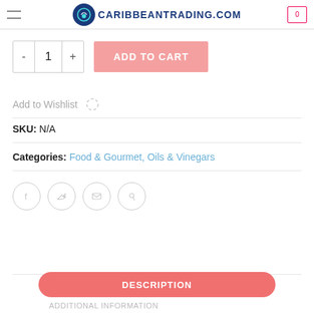CARIBBEANTRADING.COM
- 1 + ADD TO CART
Add to Wishlist
SKU: N/A
Categories: Food & Gourmet, Oils & Vinegars
[Figure (infographic): Social share icons: Facebook, Twitter, Email, Pinterest (circle outline buttons)]
DESCRIPTION
ADDITIONAL INFORMATION